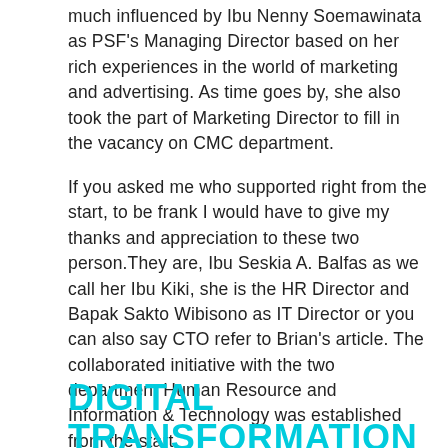much influenced by Ibu Nenny Soemawinata as PSF's Managing Director based on her rich experiences in the world of marketing and advertising. As time goes by, she also took the part of Marketing Director to fill in the vacancy on CMC department.
If you asked me who supported right from the start, to be frank I would have to give my thanks and appreciation to these two person.They are, Ibu Seskia A. Balfas as we call her Ibu Kiki, she is the HR Director and Bapak Sakto Wibisono as IT Director or you can also say CTO refer to Brian's article. The collaborated initiative with the two department Human Resource and Information & Technology was established from the start.
DIGITAL TRANSFORMATION